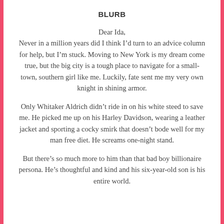BLURB
Dear Ida,
Never in a million years did I think I’d turn to an advice column for help, but I’m stuck. Moving to New York is my dream come true, but the big city is a tough place to navigate for a small-town, southern girl like me. Luckily, fate sent me my very own knight in shining armor.
Only Whitaker Aldrich didn’t ride in on his white steed to save me. He picked me up on his Harley Davidson, wearing a leather jacket and sporting a cocky smirk that doesn’t bode well for my man free diet. He screams one-night stand.
But there’s so much more to him than that bad boy billionaire persona. He’s thoughtful and kind and his six-year-old son is his entire world.